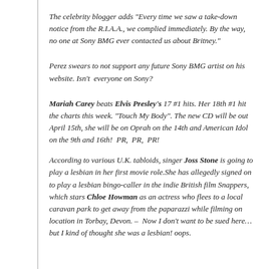The celebrity blogger adds “Every time we saw a take-down notice from the R.I.A.A., we complied immediately. By the way, no one at Sony BMG ever contacted us about Britney.”
Perez swears to not support any future Sony BMG artist on his website. Isn’t  everyone on Sony?
Mariah Carey beats Elvis Presley’s 17 #1 hits. Her 18th #1 hit the charts this week. “Touch My Body”. The new CD will be out April 15th, she will be on Oprah on the 14th and American Idol on the 9th and 16th!  PR,  PR,  PR!
According to various U.K. tabloids, singer Joss Stone is going to play a lesbian in her first movie role.She has allegedly signed on to play a lesbian bingo-caller in the indie British film Snappers, which stars Chloe Howman as an actress who flees to a local caravan park to get away from the paparazzi while filming on location in Torbay, Devon. –  Now I don’t want to be sued here…but I kind of thought she was a lesbian! oops.